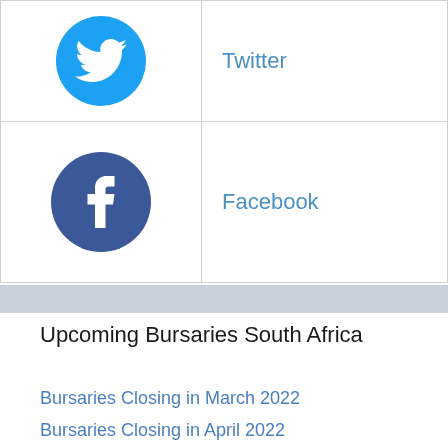| [Twitter icon] | Twitter |
| [Facebook icon] | Facebook |
Upcoming Bursaries South Africa
Bursaries Closing in March 2022
Bursaries Closing in April 2022